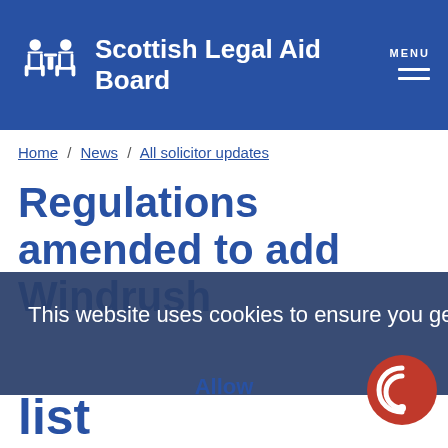Scottish Legal Aid Board
Home / News / All solicitor updates
Regulations amended to add Windrush Compensation scheme to legal aid list
This website uses cookies to ensure you get the best experience. Learn more
Allow